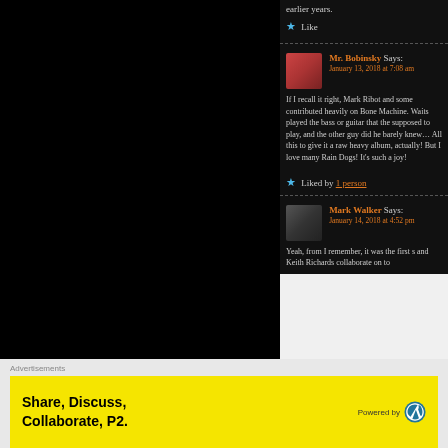earlier years.
★ Like
Mr. Bobinsky Says: January 13, 2018 at 7:08 am
If I recall it right, Mark Ribot and some contributed heavily on Bone Machine. Waits played the bass or guitar that the supposed to play, and the other guy did he barely knew… All this to give it a raw heavy album, actually! But I love many Rain Dogs! It's such a joy!
★ Liked by 1 person
Mark Walker Says: January 14, 2018 at 4:52 pm
Yeah, from I remember, it was the first s and Keith Richards collaborate on to
Advertisements
Share, Discuss, Collaborate, P2.
Powered by